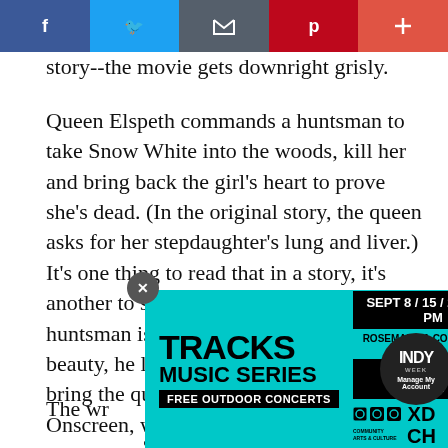[Figure (other): Social media share bar with Facebook, Twitter, email/share, Pinterest, and plus buttons]
story--the movie gets downright grisly.
Queen Elspeth commands a huntsman to take Snow White into the woods, kill her and bring back the girl's heart to prove she's dead. (In the original story, the queen asks for her stepdaughter's lung and liver.) It's one thing to read that in a story, it's another to see it in Technicolor on TV. The huntsman is so taken by Snow White's beauty, he lets her escape. But he must bring the queen a heart, so he kills a rabbit. Onscreen, we see the queen holding a quivering heart and as she sits at her table eating stew, she proclaims, "I ate your heart."
The wr Miranda saying, ...about
[Figure (other): Advertisement overlay for Tracks Music Series: FREE OUTDOOR CONCERTS, SEPT 8/15/22 • 6-9 PM, ROSEMARY & COLUMBIA ST. LOT, DOWNTOWN CHAPEL HILL, community arts & culture logos, XD CH logo, INDY week badge with Manage My Account text]